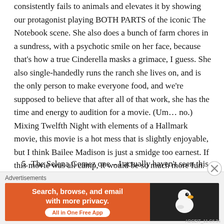consistently fails to animals and elevates it by showing our protagonist playing BOTH PARTS of the iconic The Notebook scene. She also does a bunch of farm chores in a sundress, with a psychotic smile on her face, because that's how a true Cinderella masks a grimace, I guess. She also single-handedly runs the ranch she lives on, and is the only person to make everyone food, and we're supposed to believe that after all of that work, she has the time and energy to audition for a movie. (Um… no.) Mixing Twelfth Night with elements of a Hallmark movie, this movie is a hot mess that is slightly enjoyable, but I think Bailee Madison is just a smidge too earnest. If this movie was all camp, it would be so much more fun.
5. The Selena Gomez one – I actually haven't seen this one, just commercials or something. I find the idea that
[Figure (other): DuckDuckGo advertisement banner: orange background with text 'Search, browse, and email with more privacy. All in One Free App' and DuckDuckGo logo on dark right panel]